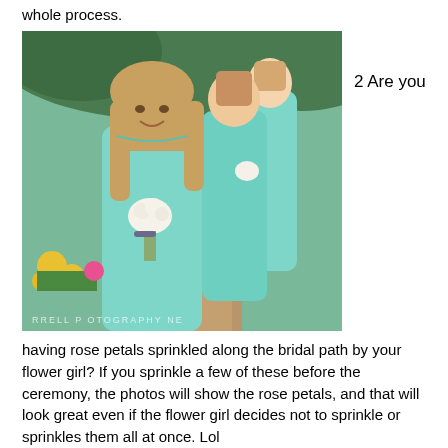whole process.
[Figure (photo): Three bridesmaids in teal/mint dresses walking outdoors. The foreground bridesmaid has long blonde hair and is holding a small white floral bouquet. Two more bridesmaids are visible behind her. A watermark reading 'RRELL PHOTOGRAPHY NE' is visible at the bottom of the photo.]
2 Are you
having rose petals sprinkled along the bridal path by your flower girl? If you sprinkle a few of these before the ceremony, the photos will show the rose petals, and that will look great even if the flower girl decides not to sprinkle or sprinkles them all at once. Lol